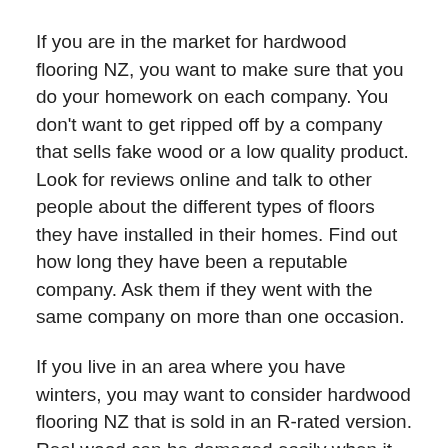If you are in the market for hardwood flooring NZ, you want to make sure that you do your homework on each company. You don't want to get ripped off by a company that sells fake wood or a low quality product. Look for reviews online and talk to other people about the different types of floors they have installed in their homes. Find out how long they have been a reputable company. Ask them if they went with the same company on more than one occasion.
If you live in an area where you have winters, you may want to consider hardwood flooring NZ that is sold in an R-rated version. Real wood can be damaged easily when it has to deal with moisture and cold. Even with the best possible treatment, some wood will start to turn gray and get brittle over time. R- Rated hardwood contains no wood or filler, instead it is made up of R-ipped sapwood layers that are sealed together. It is almost double the